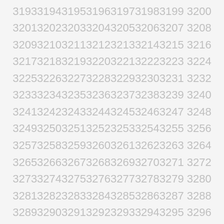3193 3194 3195 3196 3197 3198 3199 3200
3201 3202 3203 3204 3205 3206 3207 3208
3209 3210 3211 3212 3213 3214 3215 3216
3217 3218 3219 3220 3221 3222 3223 3224
3225 3226 3227 3228 3229 3230 3231 3232
3233 3234 3235 3236 3237 3238 3239 3240
3241 3242 3243 3244 3245 3246 3247 3248
3249 3250 3251 3252 3253 3254 3255 3256
3257 3258 3259 3260 3261 3262 3263 3264
3265 3266 3267 3268 3269 3270 3271 3272
3273 3274 3275 3276 3277 3278 3279 3280
3281 3282 3283 3284 3285 3286 3287 3288
3289 3290 3291 3292 3293 3294 3295 3296